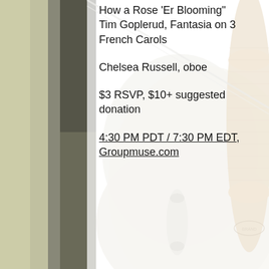[Figure (photo): Background photo of musical instruments — a pale wooden violin body and a cork/rosin spool, overlaid with a semi-transparent white panel containing event text.]
How a Rose 'Er Blooming" Tim Goplerud, Fantasia on 3 French Carols
Chelsea Russell, oboe
$3 RSVP, $10+ suggested donation
4:30 PM PDT / 7:30 PM EDT, Groupmuse.com